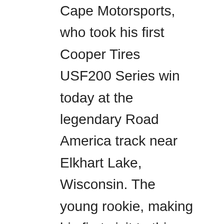Cape Motorsports, who took his first Cooper Tires USF200 Series win today at the legendary Road America track near Elkhart Lake, Wisconsin. The young rookie, making his first visit to this track, showed how effective his learning has been since the beginning of the season, leading 9 of the 12 race laps and putting up a veteran-like battle with an opponent before winning right at the finish.
“After qualifying 7th on Friday, I knew my #2 Cromwell | Karting Excellence | Home Hardware car was competitive. With a set of